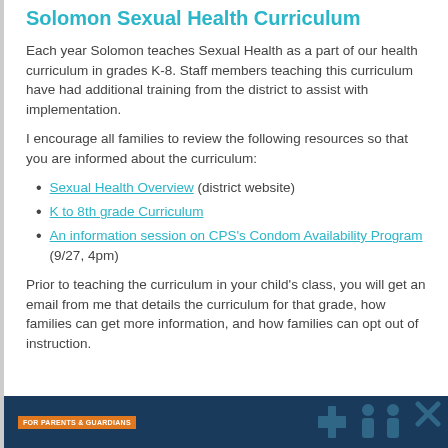Solomon Sexual Health Curriculum
Each year Solomon teaches Sexual Health as a part of our health curriculum in grades K-8. Staff members teaching this curriculum have had additional training from the district to assist with implementation.
I encourage all families to review the following resources so that you are informed about the curriculum:
Sexual Health Overview (district website)
K to 8th grade Curriculum
An information session on CPS's Condom Availability Program (9/27, 4pm)
Prior to teaching the curriculum in your child's class, you will get an email from me that details the curriculum for that grade, how families can get more information, and how families can opt out of instruction.
[Figure (illustration): Dark blue banner with orange tag reading 'FOR PARENTS & GUARDIANS' and light blue silhouette icons of people, medical cross, and other health-related symbols on the right side.]